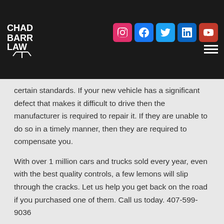Chad Barr Law — website header with logo and social media icons
certain standards. If your new vehicle has a significant defect that makes it difficult to drive then the manufacturer is required to repair it. If they are unable to do so in a timely manner, then they are required to compensate you.
With over 1 million cars and trucks sold every year, even with the best quality controls, a few lemons will slip through the cracks. Let us help you get back on the road if you purchased one of them. Call us today. 407-599-9036